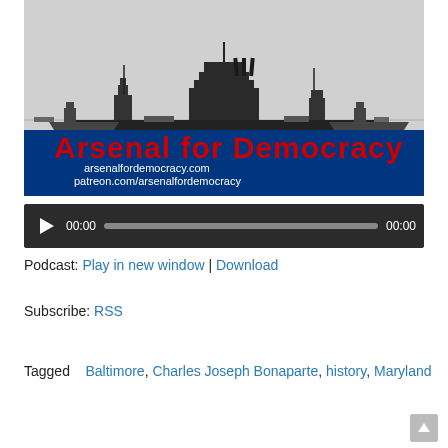[Figure (photo): Black and white photo of warships at sea with the text 'Arsenal for Democracy' in large red letters and 'arsenalfordemocracy.com' and 'patreon.com/arsenalfordemocracy' in white text below, over a dark blue band at the bottom.]
[Figure (other): Audio player widget with play button, time display showing 00:00, progress bar, and end time 00:00 on dark background.]
Podcast: Play in new window | Download
Subscribe: RSS
Tagged    Baltimore, Charles Joseph Bonaparte, history, Maryland